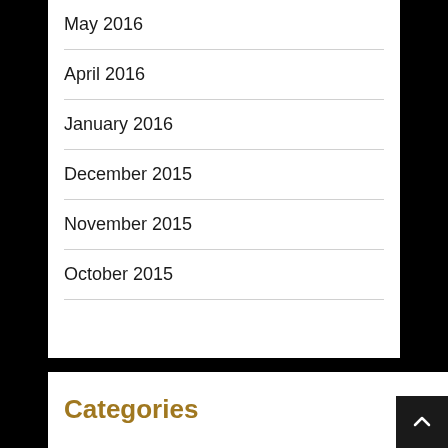May 2016
April 2016
January 2016
December 2015
November 2015
October 2015
Categories
Editorials